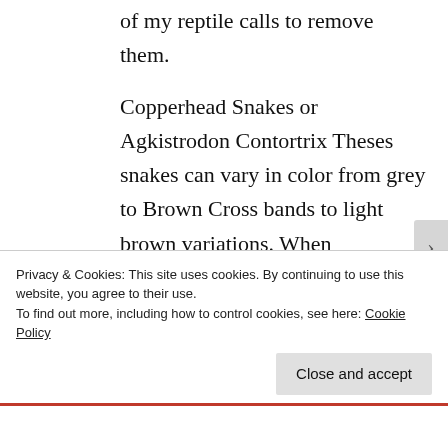of my reptile calls to remove them.
Copperhead Snakes or Agkistrodon Contortrix Theses snakes can vary in color from grey to Brown Cross bands to light brown variations. When Copperhead snakes are born (alive, and not from eggs)
Privacy & Cookies: This site uses cookies. By continuing to use this website, you agree to their use.
To find out more, including how to control cookies, see here: Cookie Policy
Close and accept